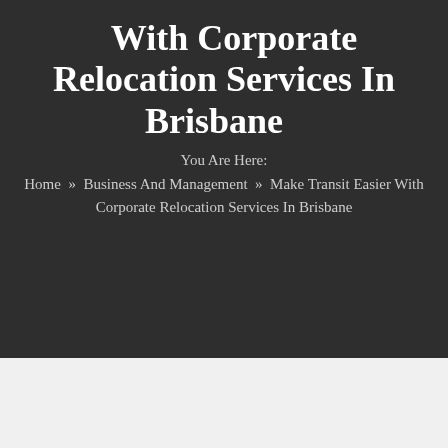With Corporate Relocation Services In Brisbane
You Are Here: Home » Business And Management » Make Transit Easier With Corporate Relocation Services In Brisbane